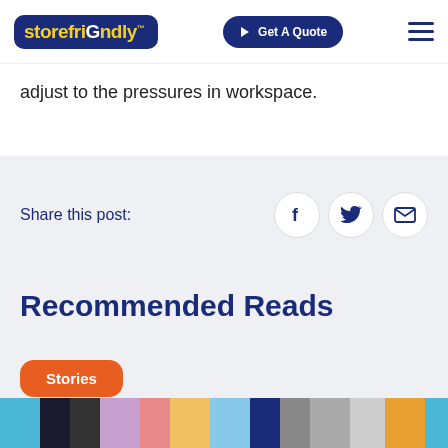storefriendly™ — Get A Quote — Menu
adjust to the pressures in workspace.
Share this post:
Recommended Reads
Stories
[Figure (photo): Horizontal strip of thumbnail images at the bottom of the page]